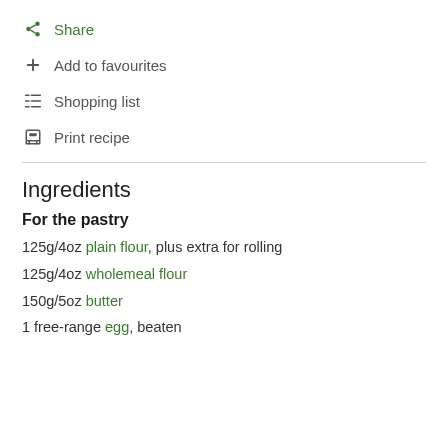Share
Add to favourites
Shopping list
Print recipe
Ingredients
For the pastry
125g/4oz plain flour, plus extra for rolling
125g/4oz wholemeal flour
150g/5oz butter
1 free-range egg, beaten